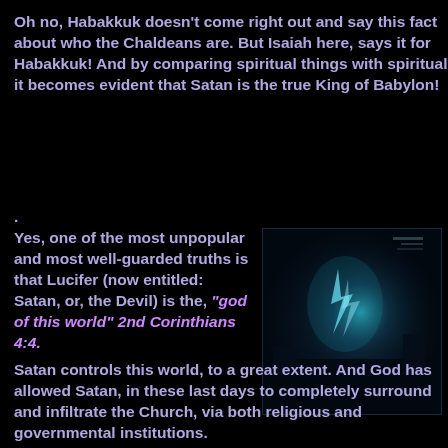Oh no, Habakkuk doesn't come right out and say this fact about who the Chaldeans are. But Isaiah here, says it for Habakkuk! And by comparing spiritual things with spiritual, it becomes evident that Satan is the true King of Babylon!
.
Yes, one of the most unpopular and most well-guarded truths is that Lucifer (now entitled: Satan, or, the Devil) is the, “god of this world” 2nd Corinthians 4:4.
[Figure (photo): Dark atmospheric image with blue/teal glow, appears to show a figure or statue in a dark setting]
Satan controls this world, to a great extent. And God has allowed Satan, in these last days to completely surround and infiltrate the Church, via both religious and governmental institutions.